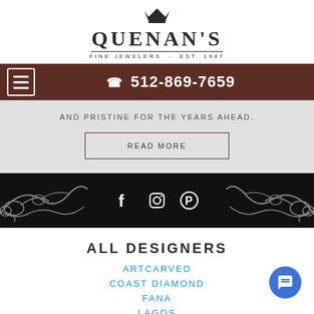[Figure (logo): Quenan's Fine Jewelers crown logo with text QUENAN'S and subtitle FINE JEWELERS · EST. 1947]
☎ 512-869-7659
AND PRISTINE FOR THE YEARS AHEAD.
READ MORE
[Figure (illustration): Black footer bar with ornamental silver scrollwork on left and right, and social media icons for Facebook, Instagram, Pinterest in the center]
ALL DESIGNERS
ARTCARVED
COAST DIAMOND
FANA
LAGOS
LUMINOX